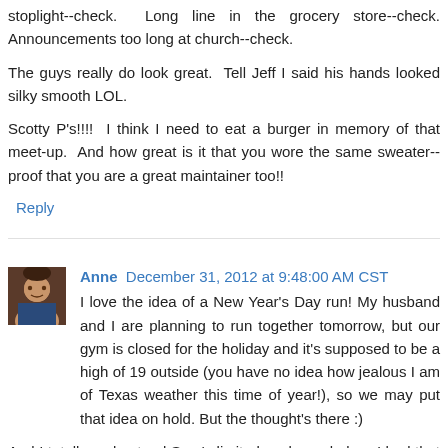stoplight--check. Long line in the grocery store--check. Announcements too long at church--check.
The guys really do look great. Tell Jeff I said his hands looked silky smooth LOL.
Scotty P's!!!! I think I need to eat a burger in memory of that meet-up. And how great is it that you wore the same sweater--proof that you are a great maintainer too!!
Reply
Anne  December 31, 2012 at 9:48:00 AM CST
I love the idea of a New Year's Day run! My husband and I are planning to run together tomorrow, but our gym is closed for the holiday and it's supposed to be a high of 19 outside (you have no idea how jealous I am of Texas weather this time of year!), so we may put that idea on hold. But the thought's there :)
And I totally understand Sam's limited work wardrobe - I had that for most of this semester! Though I think it might...